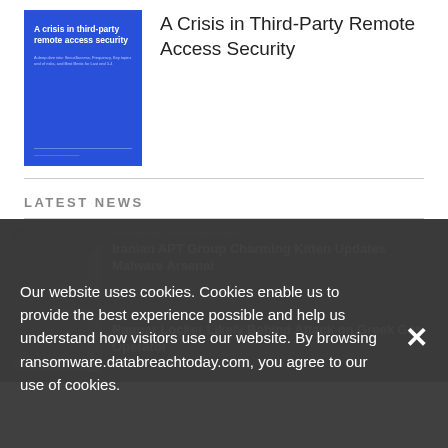[Figure (illustration): Blue book cover with title 'A crisis in third-party remote access security' in white text]
A Crisis in Third-Party Remote Access Security
LATEST NEWS
CyberWarfare / Nation-State Attacks
Iranian APT Group Charming Kitten Updates Malware Arsenal
Infrastructure Security
Ragnar Locker Likely Behind Attack on Greek Gas Operator
Our website uses cookies. Cookies enable us to provide the best experience possible and help us understand how visitors use our website. By browsing ransomware.databreachtoday.com, you agree to our use of cookies.